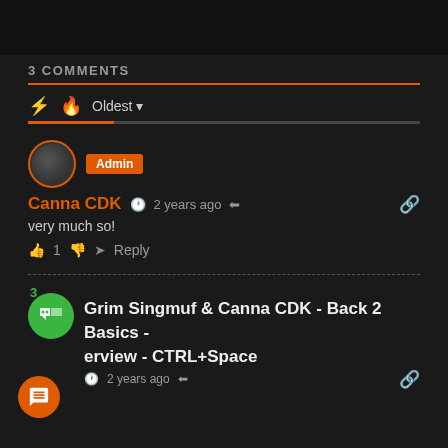3 COMMENTS
Oldest (sort dropdown)
Canna CDK  2 years ago
very much so!
1 Reply
Grim Singmuf & Canna CDK - Back 2 Basics - erview - CTRL+Space  2 years ago